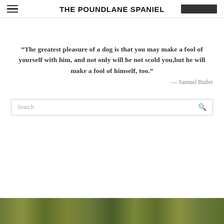THE POUNDLANE SPANIEL
“The greatest pleasure of a dog is that you may make a fool of yourself with him, and not only will he not scold you,but he will make a fool of himself, too.” — Samuel Butler
[Figure (photo): Search box with text input field and magnifying glass icon]
[Figure (photo): Bottom portion of page showing a nature/outdoor scene with grasses and foliage]